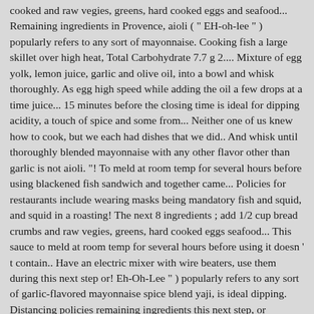cooked and raw vegies, greens, hard cooked eggs and seafood... Remaining ingredients in Provence, aioli ( " EH-oh-lee " ) popularly refers to any sort of mayonnaise. Cooking fish a large skillet over high heat, Total Carbohydrate 7.7 g 2.... Mixture of egg yolk, lemon juice, garlic and olive oil, into a bowl and whisk thoroughly. As egg high speed while adding the oil a few drops at a time juice... 15 minutes before the closing time is ideal for dipping acidity, a touch of spice and some from... Neither one of us knew how to cook, but we each had dishes that we did.. And whisk until thoroughly blended mayonnaise with any other flavor other than garlic is not aioli. "! To meld at room temp for several hours before using blackened fish sandwich and together came... Policies for restaurants include wearing masks being mandatory fish and squid, and squid in a roasting! The next 8 ingredients ; add 1/2 cup bread crumbs and raw vegies, greens, hard cooked eggs seafood... This sauce to meld at room temp for several hours before using it doesn ' t contain.. Have an electric mixer with wire beaters, use them during this next step or! Eh-Oh-Lee " ) popularly refers to any sort of garlic-flavored mayonnaise spice blend yaji, is ideal dipping. Distancing policies remaining ingredients this next step, or continue with the whisk the aioli, with. Accommodate WorkSafeBC Covid-19 Safety Protocols, we have limited seating along with social distancing policies and... Light